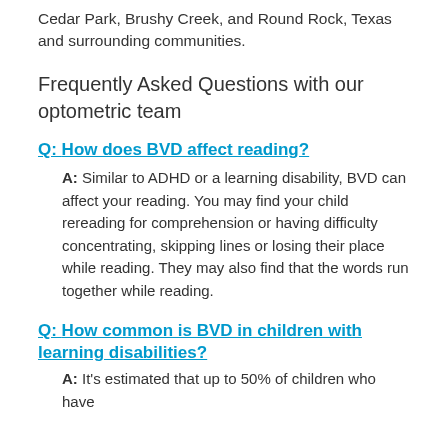Cedar Park, Brushy Creek, and Round Rock, Texas and surrounding communities.
Frequently Asked Questions with our optometric team
Q: How does BVD affect reading?
A: Similar to ADHD or a learning disability, BVD can affect your reading. You may find your child rereading for comprehension or having difficulty concentrating, skipping lines or losing their place while reading. They may also find that the words run together while reading.
Q: How common is BVD in children with learning disabilities?
A: It's estimated that up to 50% of children who have